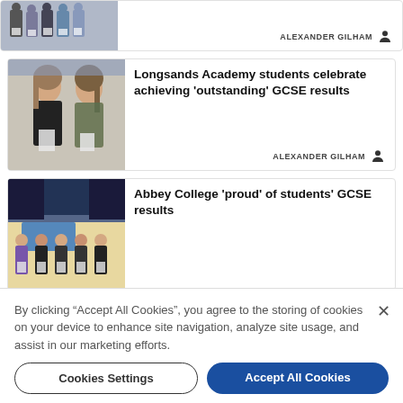[Figure (photo): Partial top card showing group of students holding certificates, partially cropped]
ALEXANDER GILHAM
[Figure (photo): Two female students smiling and holding papers at Longsands Academy GCSE results day]
Longsands Academy students celebrate achieving 'outstanding' GCSE results
ALEXANDER GILHAM
[Figure (photo): Group of male students standing in a gym holding papers at Abbey College GCSE results day]
Abbey College 'proud' of students' GCSE results
By clicking "Accept All Cookies", you agree to the storing of cookies on your device to enhance site navigation, analyze site usage, and assist in our marketing efforts.
Cookies Settings
Accept All Cookies